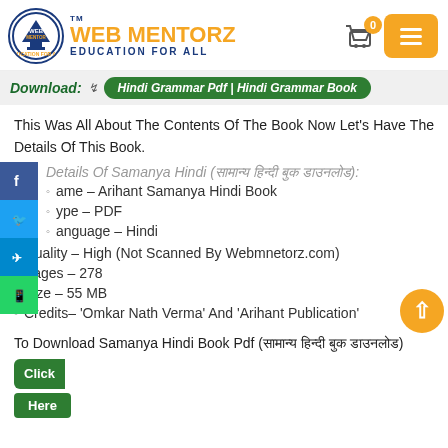WEB MENTORZ EDUCATION FOR ALL
Download: Hindi Grammar Pdf | Hindi Grammar Book
This Was All About The Contents Of The Book Now Let’s Have The Details Of This Book.
Details Of Samanya Hindi (सामान्य हिंदी बुक डाउनलोड):
Name – Arihant Samanya Hindi Book
Type – PDF
Language – Hindi
Quality – High (Not Scanned By Webmnetorz.com)
Pages – 278
Size – 55 MB
Credits– ‘Omkar Nath Verma’ And ‘Arihant Publication’
To Download Samanya Hindi Book Pdf (सामान्य हिंदी बुक डाउनलोड) Click Here